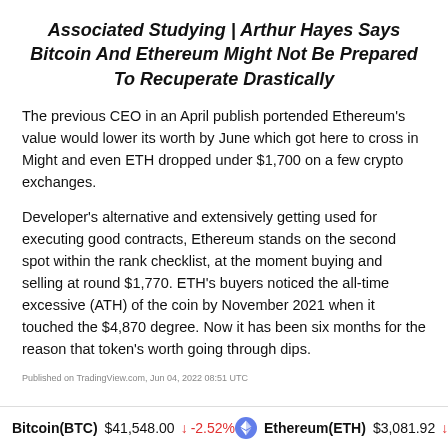Associated Studying | Arthur Hayes Says Bitcoin And Ethereum Might Not Be Prepared To Recuperate Drastically
The previous CEO in an April publish portended Ethereum's value would lower its worth by June which got here to cross in Might and even ETH dropped under $1,700 on a few crypto exchanges.
Developer's alternative and extensively getting used for executing good contracts, Ethereum stands on the second spot within the rank checklist, at the moment buying and selling at round $1,770. ETH's buyers noticed the all-time excessive (ATH) of the coin by November 2021 when it touched the $4,870 degree. Now it has been six months for the reason that token's worth going through dips.
Published on TradingView.com, Jun 04, 2022 08:51 UTC
Bitcoin(BTC) $41,548.00 ↓ -2.52%   Ethereum(ETH) $3,081.92 ↓